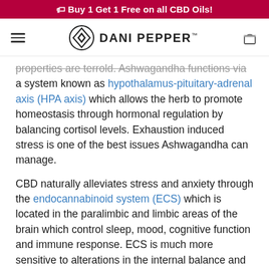🏷 Buy 1 Get 1 Free on all CBD Oils!
[Figure (logo): Dani Pepper logo with geometric diamond shape and brand name]
properties are terroid. Ashwagandha functions via a system known as hypothalamus-pituitary-adrenal axis (HPA axis) which allows the herb to promote homeostasis through hormonal regulation by balancing cortisol levels. Exhaustion induced stress is one of the best issues Ashwagandha can manage.
CBD naturally alleviates stress and anxiety through the endocannabinoid system (ECS) which is located in the paralimbic and limbic areas of the brain which control sleep, mood, cognitive function and immune response. ECS is much more sensitive to alterations in the internal balance and CBD is the most effective to help alleviate anxiety. When